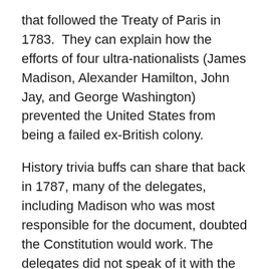that followed the Treaty of Paris in 1783.  They can explain how the efforts of four ultra-nationalists (James Madison, Alexander Hamilton, John Jay, and George Washington) prevented the United States from being a failed ex-British colony.
History trivia buffs can share that back in 1787, many of the delegates, including Madison who was most responsible for the document, doubted the Constitution would work. The delegates did not speak of it with the same reverence that today's politicians do. Included with those doubters was the Honorable Benjamin Franklin.
Given today's political polarization, a more timely Constitution Day activity in a secondary school would be to share Franklin's feelings about the Constitution by having students review the opening to a letter sent before